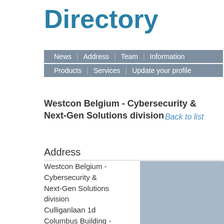Directory
News | Address | Team | Information | Products | Services | Update your profile
Westcon Belgium - Cybersecurity & Next-Gen Solutions division
Back to list
Address
Westcon Belgium - Cybersecurity & Next-Gen Solutions division
Culliganlaan 1d
Columbus Building -
[Figure (map): Map placeholder showing location area in muted blue-grey]